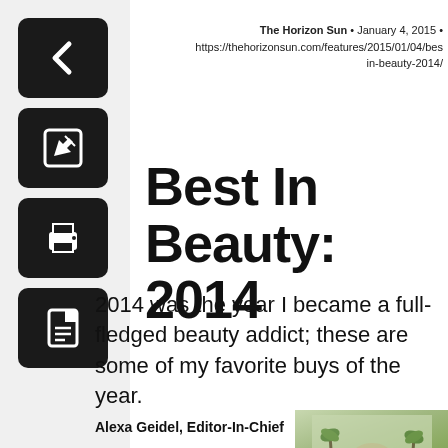The Horizon Sun • January 4, 2015 • https://thehorizonsun.com/features/2015/01/04/bes in-beauty-2014/
Best In Beauty: 2014
2014 was the year I became a full-fledged beauty addict; these are some of my favorite buys of the year.
Alexa Geidel, Editor-In-Chief
[Figure (photo): Outdoor photo showing palm trees and a structure, appears to be a campus or resort setting]